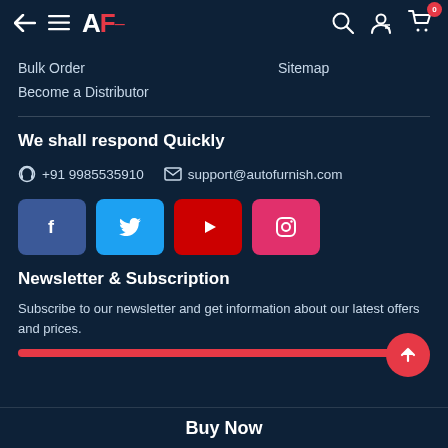AF - AutoFurnish navigation bar with back arrow, menu, logo, search, account, cart (0)
Bulk Order
Sitemap
Become a Distributor
We shall respond Quickly
+91 9985535910   support@autofurnish.com
[Figure (other): Social media buttons: Facebook (blue), Twitter (cyan), YouTube (red), Instagram (red)]
Newsletter & Subscription
Subscribe to our newsletter and get information about our latest offers and prices.
Buy Now